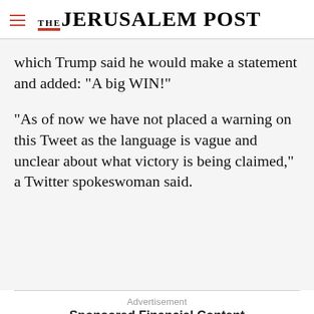THE JERUSALEM POST
which Trump said he would make a statement and added: "A big WIN!"
"As of now we have not placed a warning on this Tweet as the language is vague and unclear about what victory is being claimed," a Twitter spokeswoman said.
Advertisement
Sponsored Financial Content
Advertisement